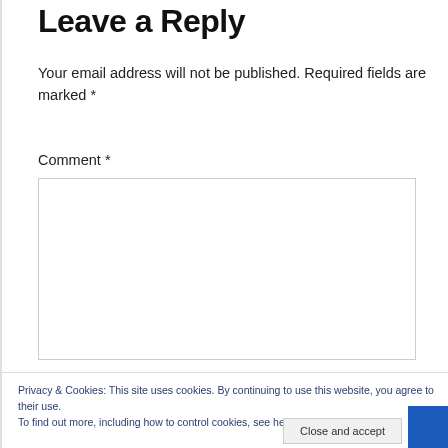Leave a Reply
Your email address will not be published. Required fields are marked *
Comment *
Privacy & Cookies: This site uses cookies. By continuing to use this website, you agree to their use.
To find out more, including how to control cookies, see here: Cookie Policy